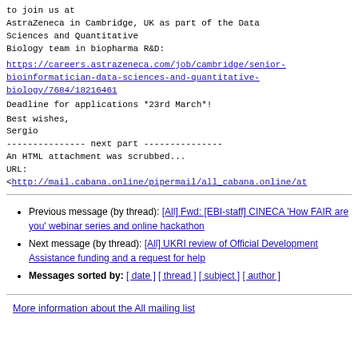to join us at
AstraZeneca in Cambridge, UK as part of the Data
Sciences and Quantitative
Biology team in biopharma R&D:
https://careers.astrazeneca.com/job/cambridge/senior-bioinformatician-data-sciences-and-quantitative-biology/7684/18216461
Deadline for applications *23rd March*!
Best wishes,
Sergio
--------------- next part ---------------
An HTML attachment was scrubbed...
URL:
<http://mail.cabana.online/pipermail/all_cabana.online/at
Previous message (by thread): [All] Fwd: [EBI-staff] CINECA 'How FAIR are you' webinar series and online hackathon
Next message (by thread): [All] UKRI review of Official Development Assistance funding and a request for help
Messages sorted by: [ date ] [ thread ] [ subject ] [ author ]
More information about the All mailing list